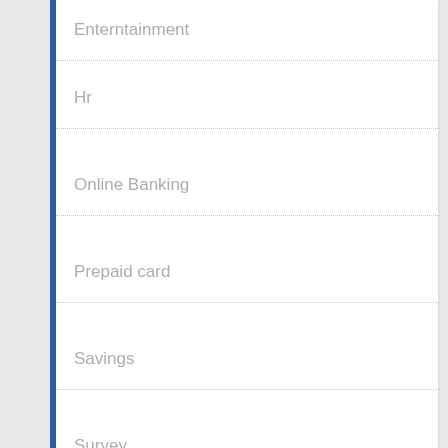Enterntainment
Hr
Online Banking
Prepaid card
Savings
Survey
Sweepstakes
RECENT COMMENTS
Rissed on www.history.com/activate – How to Activate